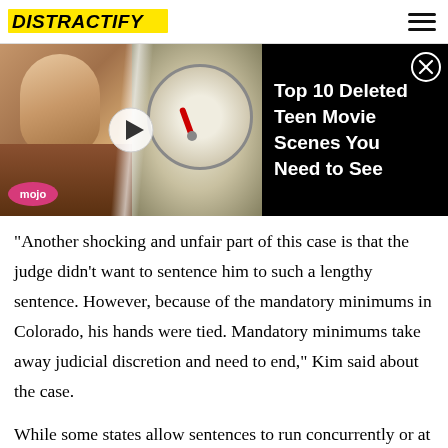DISTRACTIFY
[Figure (screenshot): Ad banner showing a teen girl and a weighing scale on the left side (WatchMojo thumbnail), with text 'Top 10 Deleted Teen Movie Scenes You Need to See' on a black background on the right, and a close (X) button in the top-right corner.]
"Another shocking and unfair part of this case is that the judge didn't want to sentence him to such a lengthy sentence. However, because of the mandatory minimums in Colorado, his hands were tied. Mandatory minimums take away judicial discretion and need to end," Kim said about the case.
While some states allow sentences to run concurrently or at the same time, Colorado instead stacks them on top of